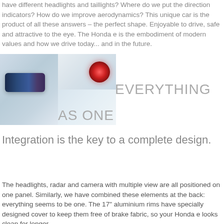have different headlights and taillights? Where do we put the direction indicators? How do we improve aerodynamics? This unique car is the product of all these answers – the perfect shape. Enjoyable to drive, safe and attractive to the eye. The Honda e is the embodiment of modern values and how we drive today... and in the future.
[Figure (photo): Two close-up photos of Honda e car exterior details: left shows a dark rear-view camera/headlight unit on white body, right shows a pink/red circular taillight on white body]
EVERYTHING AS ONE
Integration is the key to a complete design.
The headlights, radar and camera with multiple view are all positioned on one panel. Similarly, we have combined these elements at the back: everything seems to be one. The 17" aluminium rims have specially designed cover to keep them free of brake fabric, so your Honda e looks clean for longer